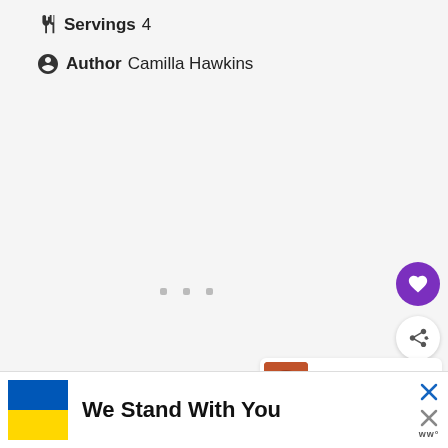Servings 4
Author Camilla Hawkins
WHAT'S NEXT → Turkey Chilli with Baked...
We Stand With You